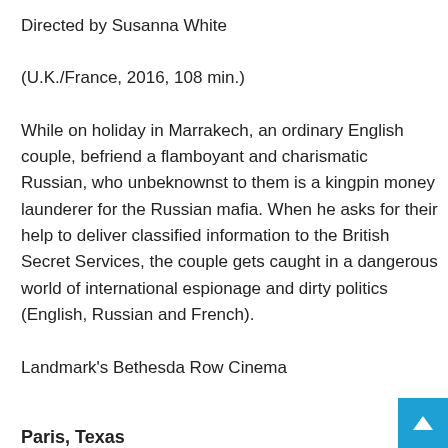Directed by Susanna White
(U.K./France, 2016, 108 min.)
While on holiday in Marrakech, an ordinary English couple, befriend a flamboyant and charismatic Russian, who unbeknownst to them is a kingpin money launderer for the Russian mafia. When he asks for their help to deliver classified information to the British Secret Services, the couple gets caught in a dangerous world of international espionage and dirty politics (English, Russian and French).
Landmark's Bethesda Row Cinema
Paris, Texas